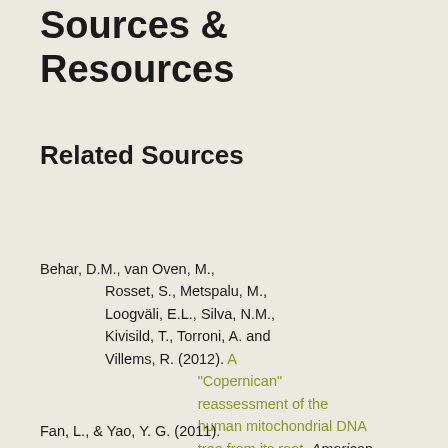Sources & Resources
Related Sources
Behar, D.M., van Oven, M., Rosset, S., Metspalu, M., Loogväli, E.L., Silva, N.M., Kivisild, T., Torroni, A. and Villems, R. (2012). A “Copernican” reassessment of the human mitochondrial DNA tree from its root. American journal of human genetics, 90(4), 675-684.
Fan, L., & Yao, Y. G. (2011).